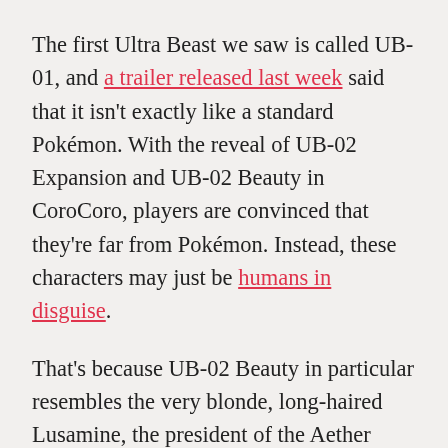The first Ultra Beast we saw is called UB-01, and a trailer released last week said that it isn't exactly like a standard Pokémon. With the reveal of UB-02 Expansion and UB-02 Beauty in CoroCoro, players are convinced that they're far from Pokémon. Instead, these characters may just be humans in disguise.
That's because UB-02 Beauty in particular resembles the very blonde, long-haired Lusamine, the president of the Aether Foundation, a research facility that's dedicated itself to researching Pokémon and monsters of all kinds. It could be a coincidence that UB-02 Beauty's shape mirrors that of Lusamine. Yet the wild speculation continues, and fans also suggest that other